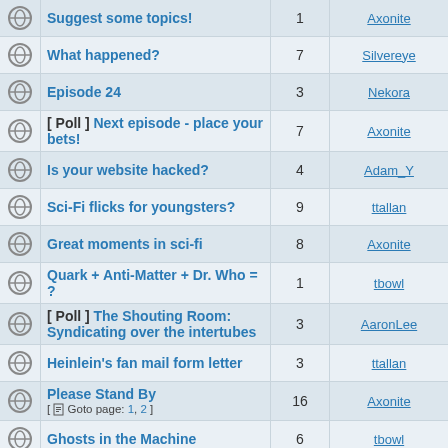|  | Topic | Replies | Last Post |
| --- | --- | --- | --- |
|  | Suggest some topics! | 1 | Axonite |
|  | What happened? | 7 | Silvereye |
|  | Episode 24 | 3 | Nekora |
|  | [ Poll ] Next episode - place your bets! | 7 | Axonite |
|  | Is your website hacked? | 4 | Adam_Y |
|  | Sci-Fi flicks for youngsters? | 9 | ttallan |
|  | Great moments in sci-fi | 8 | Axonite |
|  | Quark + Anti-Matter + Dr. Who = ? | 1 | tbowl |
|  | [ Poll ] The Shouting Room: Syndicating over the intertubes | 3 | AaronLee |
|  | Heinlein's fan mail form letter | 3 | ttallan |
|  | Please Stand By [ Goto page: 1, 2 ] | 16 | Axonite |
|  | Ghosts in the Machine | 6 | tbowl |
|  | If you could pick any director to do your comic's movie..? | 4 | tbowl |
|  | Top 10 Sci-Fi movies [ Goto page: 1, 2, 3 ] | 36 | Axonite |
|  | Dr Horrible is coming! [ Goto page: 1, 2 ] | 16 | ttallan |